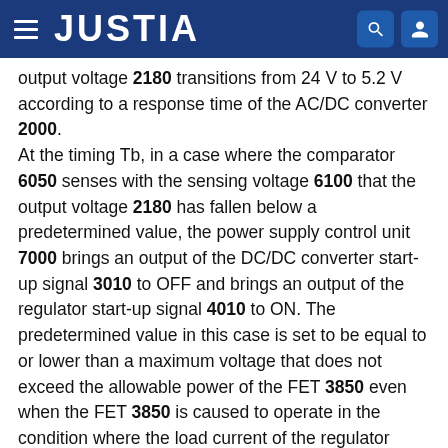JUSTIA
output voltage 2180 transitions from 24 V to 5.2 V according to a response time of the AC/DC converter 2000.
At the timing Tb, in a case where the comparator 6050 senses with the sensing voltage 6100 that the output voltage 2180 has fallen below a predetermined value, the power supply control unit 7000 brings an output of the DC/DC converter start-up signal 3010 to OFF and brings an output of the regulator start-up signal 4010 to ON. The predetermined value in this case is set to be equal to or lower than a maximum voltage that does not exceed the allowable power of the FET 3850 even when the FET 3850 is caused to operate in the condition where the load current of the regulator 4000 is maximized. In the present embodiment, the predetermined value is set at 7 V. The OFF (low level) output of the DC/DC converter start-up signal 3010 and the ON (high level...